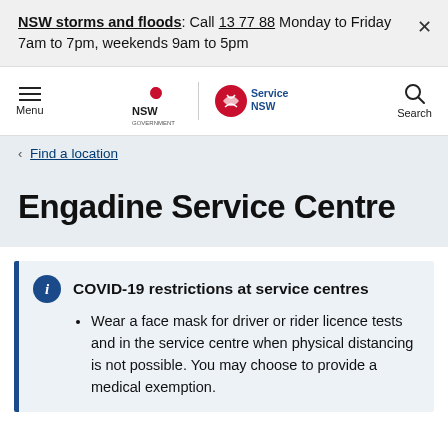NSW storms and floods: Call 13 77 88 Monday to Friday 7am to 7pm, weekends 9am to 5pm
[Figure (logo): NSW Government and Service NSW navigation bar with menu and search buttons]
< Find a location
Engadine Service Centre
COVID-19 restrictions at service centres
Wear a face mask for driver or rider licence tests and in the service centre when physical distancing is not possible. You may choose to provide a medical exemption.